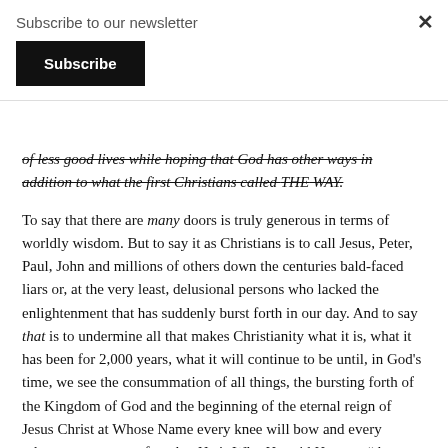Subscribe to our newsletter
Subscribe
of less good lives while hoping that God has other ways in addition to what the first Christians called THE WAY.
To say that there are many doors is truly generous in terms of worldly wisdom. But to say it as Christians is to call Jesus, Peter, Paul, John and millions of others down the centuries bald-faced liars or, at the very least, delusional persons who lacked the enlightenment that has suddenly burst forth in our day. And to say that is to undermine all that makes Christianity what it is, what it has been for 2,000 years, what it will continue to be until, in God's time, we see the consummation of all things, the bursting forth of the Kingdom of God and the beginning of the eternal reign of Jesus Christ at Whose Name every knee will bow and every reluctant tongue confess that He is Who He said He was: “the Lord, to the glory of God the Father” (Philippians 2:11). This is the One Who is our Good Shepherd, Who knows His sheep and lays down His life for them.